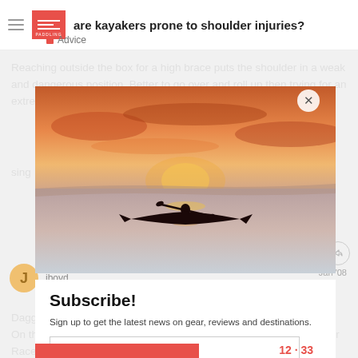are kayakers prone to shoulder injuries?
Advice
Reaching outside the box for a high brace puts the shoulder in a weak and dangerous position. Better to go over and roll up then trying for an extremely stretched out brace.
[Figure (photo): Silhouette of a kayaker on calm water at sunset with orange and pink sky]
Subscribe!
Sign up to get the latest news on gear, reviews and destinations.
Enter your email
jboyd
Jan '08
Daggermat
On the subject of shuttle buddies, you single blades or "The Superior Race" as I have heard your kind refer to themselves, are never shy about taking up the space a double blades are always happy to oblige
12 · 33